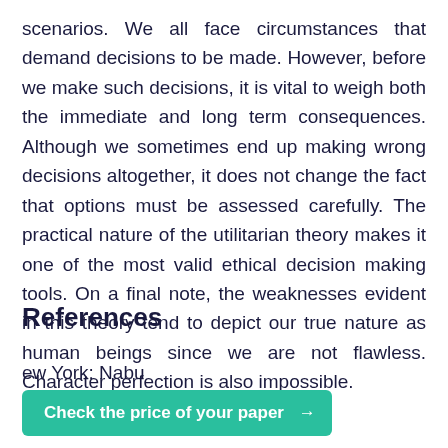scenarios. We all face circumstances that demand decisions to be made. However, before we make such decisions, it is vital to weigh both the immediate and long term consequences. Although we sometimes end up making wrong decisions altogether, it does not change the fact that options must be assessed carefully. The practical nature of the utilitarian theory makes it one of the most valid ethical decision making tools. On a final note, the weaknesses evident in this theory tend to depict our true nature as human beings since we are not flawless. Character perfection is also impossible.
References
ew York: Nabu